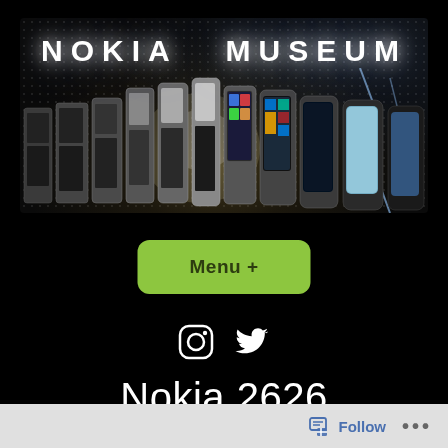[Figure (photo): Nokia Museum banner with collection of Nokia phones from old to new arranged in a row, glowing with light effects, on dark dotted background. Text 'NOKIA MUSEUM' at top in white bold letters.]
[Figure (other): Green rounded rectangle button labeled 'Menu +']
[Figure (other): Instagram and Twitter social media icons in white]
Nokia 2626
[Figure (other): Footer bar with Follow button and three dots menu icon]